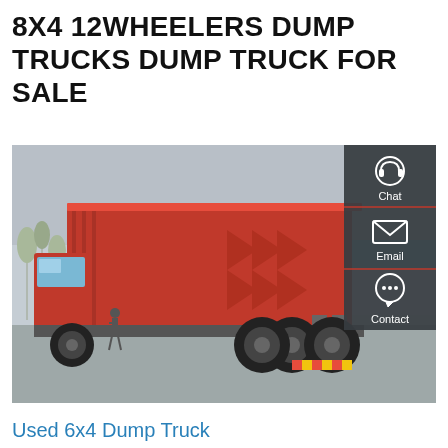8X4 12WHEELERS DUMP TRUCKS DUMP TRUCK FOR SALE
[Figure (photo): Photograph of a large red 8x4 dump truck (12-wheeler) parked on a paved area, viewed from the rear-left angle, with a sidebar panel showing Chat, Email, and Contact icons on a dark background on the right side of the image.]
Used 6x4 Dump Truck